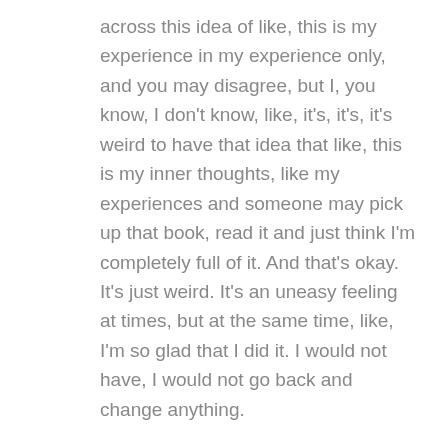across this idea of like, this is my experience in my experience only, and you may disagree, but I, you know, I don't know, like, it's, it's, it's weird to have that idea that like, this is my inner thoughts, like my experiences and someone may pick up that book, read it and just think I'm completely full of it. And that's okay. It's just weird. It's an uneasy feeling at times, but at the same time, like, I'm so glad that I did it. I would not have, I would not go back and change anything.
Jamin Alvidrez (00:45:35):